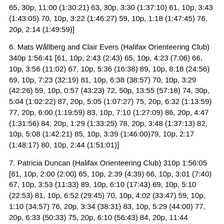65, 30p, 11:00 (1:30:21) 63, 30p, 3:30 (1:37:10) 61, 10p, 3:43 (1:43:05) 70, 10p, 3:22 (1:46:27) 59, 10p, 1:18 (1:47:45) 76, 20p, 2:14 (1:49:59)]
6. Mats Wållberg and Clair Evers (Halifax Orienteering Club) 340p 1:56:41 [61, 10p, 2:43 (2:43) 65, 10p, 4:23 (7:06) 66, 10p, 3:56 (11:02) 67, 10p, 5:36 (16:38) 89, 10p, 8:18 (24:56) 69, 10p, 7:23 (32:19) 81, 10p, 6:38 (38:57) 70, 10p, 3:29 (42:26) 59, 10p, 0:57 (43:23) 72, 50p, 13:55 (57:18) 74, 30p, 5:04 (1:02:22) 87, 20p, 5:05 (1:07:27) 75, 20p, 6:32 (1:13:59) 77, 20p, 6:00 (1:19:59) 83, 10p, 7:10 (1:27:09) 86, 20p, 4:47 (1:31:56) 84, 20p, 1:29 (1:33:25) 78, 20p, 3:48 (1:37:13) 82, 10p, 5:08 (1:42:21) 85, 10p, 3:39 (1:46:00)79, 10p, 2:17 (1:48:17) 80, 10p, 2:44 (1:51:01)]
7. Patricia Duncan (Halifax Orienteering Club) 310p 1:56:05 [61, 10p, 2:00 (2:00) 65, 10p, 2:39 (4:39) 66, 10p, 3:01 (7:40) 67, 10p, 3:53 (11:33) 89, 10p, 6:10 (17:43) 69, 10p, 5:10 (22:53) 81, 10p, 6:52 (29:45) 70, 10p, 4:02 (33:47) 59, 10p, 1:10 (34:57) 76, 20p, 3:34 (38:31) 83, 10p, 5:29 (44:00) 77, 20p, 6:33 (50:33) 75, 20p, 6:10 (56:43) 84, 20p, 11:44 (1:08:27) 86, 20p, 1:17 (1:09:44) 78, 20p, 3:57 (1:13:41) 82, 10p, 3:53 (1:17:34) 85, 10p, 3:12 (1:20:46) 79, 10p, 1:58 (1:22:44) 80, 10p, 2:54 (1:25:38) 71, 10p, 12:19 (1:37:57) 64, 20p, 5:43 (1:43:40) 62, 10p, 1:14 (1:44:54) 88, 10p, 2:00 (1:46:54)]